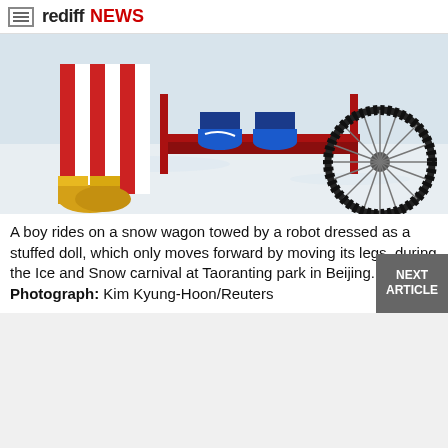rediff NEWS
[Figure (photo): Close-up of a snow wagon on ice/snow. On the left, a figure in red-and-white striped pants and yellow boots (robot dressed as stuffed doll). On the right, a child's feet in blue sneakers resting on a red metal frame sled with a large bicycle wheel.]
A boy rides on a snow wagon towed by a robot dressed as a stuffed doll, which only moves forward by moving its legs, during the Ice and Snow carnival at Taoranting park in Beijing. Photograph: Kim Kyung-Hoon/Reuters